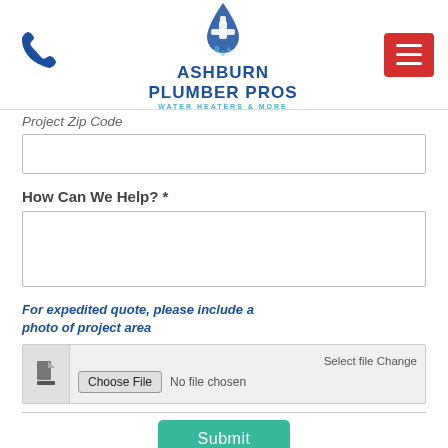[Figure (logo): Ashburn Plumber Pros logo with water droplet and faucet icon, blue color scheme, text reads ASHBURN PLUMBER PROS WATER HEATERS & MORE]
Project Zip Code
How Can We Help? *
For expedited quote, please include a photo of project area
Select file Change  Choose File  No file chosen
Submit